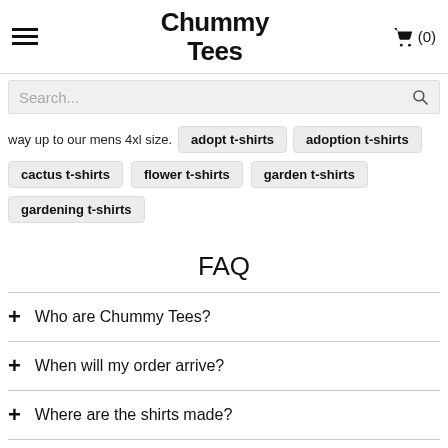Chummy Tees
way up to our mens 4xl size.
adopt t-shirts
adoption t-shirts
cactus t-shirts
flower t-shirts
garden t-shirts
gardening t-shirts
FAQ
+ Who are Chummy Tees?
+ When will my order arrive?
+ Where are the shirts made?
+ What is your return & exchange policy?